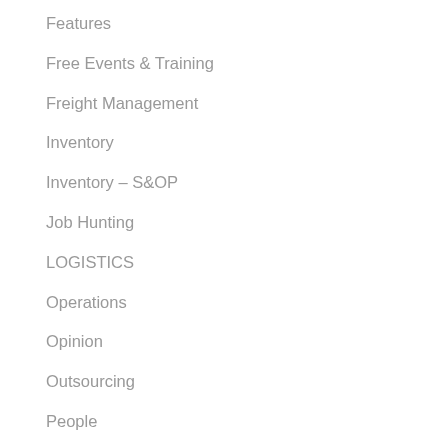Features
Free Events & Training
Freight Management
Inventory
Inventory – S&OP
Job Hunting
LOGISTICS
Operations
Opinion
Outsourcing
People
Performance Measurement – KPIs
Planning